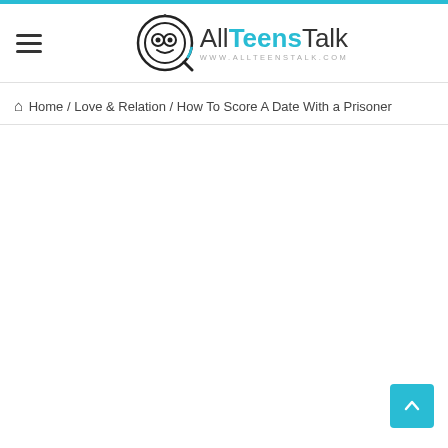AllTeensTalk — www.allteenstalk.com
Home / Love & Relation / How To Score A Date With a Prisoner